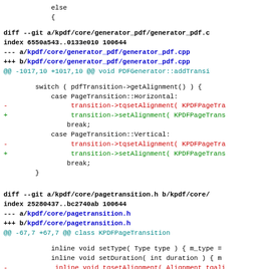else
    {
diff --git a/kpdf/core/generator_pdf/generator_pdf.c
index 6550a543..0133e010 100644
--- a/kpdf/core/generator_pdf/generator_pdf.cpp
+++ b/kpdf/core/generator_pdf/generator_pdf.cpp
@@ -1017,10 +1017,10 @@ void PDFGenerator::addTransi
switch ( pdfTransition->getAlignment() ) {
            case PageTransition::Horizontal:
-                transition->tqsetAlignment( KPDFPageTra
+                transition->setAlignment( KPDFPageTrans
                break;
            case PageTransition::Vertical:
-                transition->tqsetAlignment( KPDFPageTra
+                transition->setAlignment( KPDFPageTrans
                break;
        }
diff --git a/kpdf/core/pagetransition.h b/kpdf/core/
index 25280437..bc2740ab 100644
--- a/kpdf/core/pagetransition.h
+++ b/kpdf/core/pagetransition.h
@@ -67,7 +67,7 @@ class KPDFPageTransition
inline void setType( Type type ) { m_type =
            inline void setDuration( int duration ) { m
-            inline void tqsetAlignment( Alignment tqali